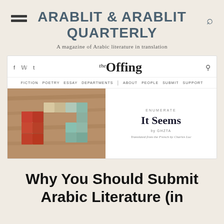ARABLIT & ARABLIT QUARTERLY
A magazine of Arabic literature in translation
[Figure (screenshot): Screenshot of The Offing literary magazine website showing navigation bar with FICTION, POETRY, ESSAY, DEPARTMENTS, ABOUT, PEOPLE, SUBMIT, SUPPORT links, and an article preview titled 'It Seems' with an image of wooden blocks arranged in an impossible triangle shape.]
Why You Should Submit Arabic Literature (in